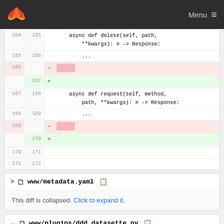GitLab logo | Menu ≡
[Figure (screenshot): GitLab diff view showing code changes with line numbers 164-172, removals on lines 166 and 169 highlighted in red, additions on lines 167 and 170 highlighted in green. Code includes async def delete and async def request method stubs.]
> 🗋 www/metadata.yaml 📋
This diff is collapsed. Click to expand it.
v 🗋 www/plugins/ddd_datasette.py 📋